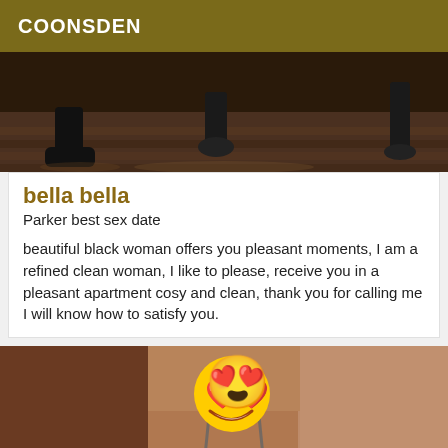COONSDEN
[Figure (photo): Partial photo of floor with people's feet and legs visible, hardwood floor, dark background]
bella bella
Parker best sex date
beautiful black woman offers you pleasant moments, I am a refined clean woman, I like to please, receive you in a pleasant apartment cosy and clean, thank you for calling me I will know how to satisfy you.
[Figure (photo): Photo of a woman with a heart-eyes emoji face overlay, wearing a bra, blurred/cropped]